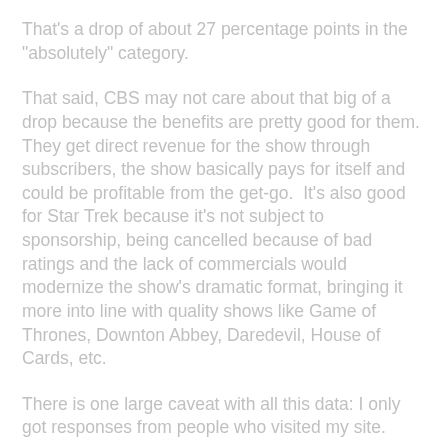That's a drop of about 27 percentage points in the "absolutely" category.
That said, CBS may not care about that big of a drop because the benefits are pretty good for them.  They get direct revenue for the show through subscribers, the show basically pays for itself and could be profitable from the get-go.  It's also good for Star Trek because it's not subject to sponsorship, being cancelled because of bad ratings and the lack of commercials would modernize the show's dramatic format, bringing it more into line with quality shows like Game of Thrones, Downton Abbey, Daredevil, House of Cards, etc.
There is one large caveat with all this data: I only got responses from people who visited my site. So that sample is by no means a representative